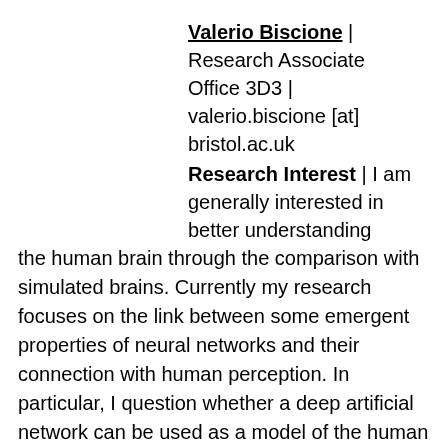Valerio Biscione | Research Associate
Office 3D3 | valerio.biscione [at] bristol.ac.uk
Research Interest | I am generally interested in better understanding the human brain through the comparison with simulated brains. Currently my research focuses on the link between some emergent properties of neural networks and their connection with human perception. In particular, I question whether a deep artificial network can be used as a model of the human perceptual visual system. Even if the answer is negative, by posing the question I hope to get a better idea about what components we are still missing, and what we need to get there.  During my PhD I have focused on decision making strategies